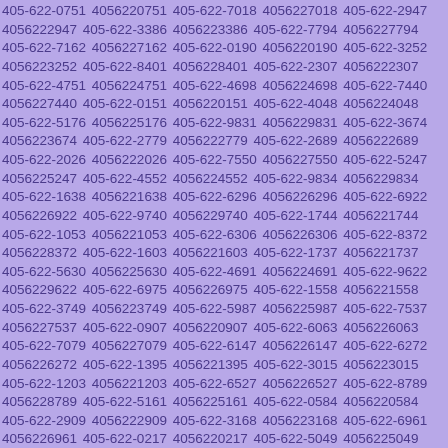405-622-0751 4056220751 405-622-7018 4056227018 405-622-2947 4056222947 405-622-3386 4056223386 405-622-7794 4056227794 405-622-7162 4056227162 405-622-0190 4056220190 405-622-3252 4056223252 405-622-8401 4056228401 405-622-2307 4056222307 405-622-4751 4056224751 405-622-4698 4056224698 405-622-7440 4056227440 405-622-0151 4056220151 405-622-4048 4056224048 405-622-5176 4056225176 405-622-9831 4056229831 405-622-3674 4056223674 405-622-2779 4056222779 405-622-2689 4056222689 405-622-2026 4056222026 405-622-7550 4056227550 405-622-5247 4056225247 405-622-4552 4056224552 405-622-9834 4056229834 405-622-1638 4056221638 405-622-6296 4056226296 405-622-6922 4056226922 405-622-9740 4056229740 405-622-1744 4056221744 405-622-1053 4056221053 405-622-6306 4056226306 405-622-8372 4056228372 405-622-1603 4056221603 405-622-1737 4056221737 405-622-5630 4056225630 405-622-4691 4056224691 405-622-9622 4056229622 405-622-6975 4056226975 405-622-1558 4056221558 405-622-3749 4056223749 405-622-5987 4056225987 405-622-7537 4056227537 405-622-0907 4056220907 405-622-6063 4056226063 405-622-7079 4056227079 405-622-6147 4056226147 405-622-6272 4056226272 405-622-1395 4056221395 405-622-3015 4056223015 405-622-1203 4056221203 405-622-6527 4056226527 405-622-8789 4056228789 405-622-5161 4056225161 405-622-0584 4056220584 405-622-2909 4056222909 405-622-3168 4056223168 405-622-6961 4056226961 405-622-0217 4056220217 405-622-5049 4056225049 405-622-0901 4056220901 405-622-4795 4056224795 405-622-4393 4056224393 405-622-8730 4056228730 405-622-4882 4056224882